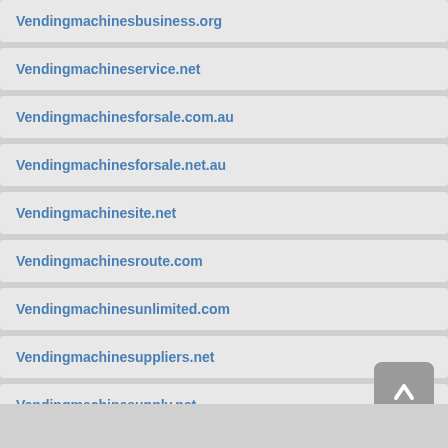Vendingmachinesbusiness.org
Vendingmachineservice.net
Vendingmachinesforsale.com.au
Vendingmachinesforsale.net.au
Vendingmachinesite.net
Vendingmachinesroute.com
Vendingmachinesunlimited.com
Vendingmachinesuppliers.net
Vendingmachinesupply.net
Vendingmachineweb.co.uk